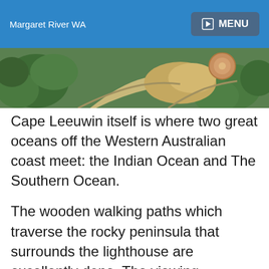Margaret River WA
[Figure (photo): Aerial view of Cape Leeuwin lighthouse peninsula with wooden walking paths, rocky terrain, and surrounding greenery]
Cape Leeuwin itself is where two great oceans off the Western Australian coast meet: the Indian Ocean and The Southern Ocean.
The wooden walking paths which traverse the rocky peninsula that surrounds the lighthouse are excellently done. The viewing platforms come complete with benches, enabling you to relax and enjoy the incredible sight of